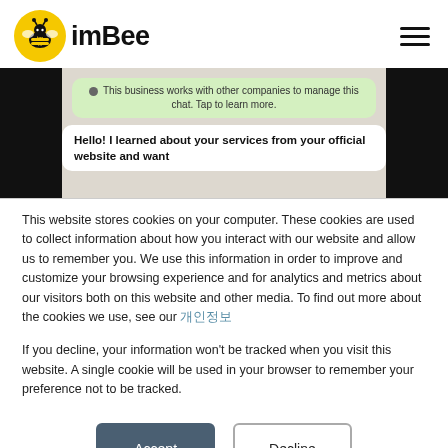[Figure (logo): imBee logo: yellow circle with bee icon and 'imBee' text in bold]
[Figure (screenshot): Screenshot of a WhatsApp-style chat showing a green info bubble: 'This business works with other companies to manage this chat. Tap to learn more.' and a white bubble starting with 'Hello! I learned about your services from your official website and want...']
This website stores cookies on your computer. These cookies are used to collect information about how you interact with our website and allow us to remember you. We use this information in order to improve and customize your browsing experience and for analytics and metrics about our visitors both on this website and other media. To find out more about the cookies we use, see our 개인정보
If you decline, your information won't be tracked when you visit this website. A single cookie will be used in your browser to remember your preference not to be tracked.